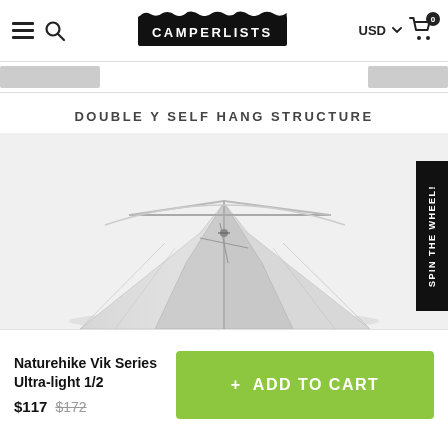CAMPERLISTS — USD — Cart (0)
DOUBLE Y SELF HANG STRUCTURE
[Figure (photo): Close-up photo of a Naturehike Vik Series tent showing the double Y self-hang pole structure from above, white/light grey tent fabric visible]
SPIN THE WHEEL!
Naturehike Vik Series Ultra-light 1/2
$117 $172